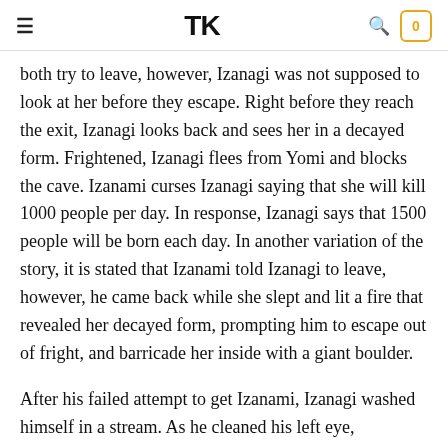≡  TK  🔍  0
both try to leave, however, Izanagi was not supposed to look at her before they escape. Right before they reach the exit, Izanagi looks back and sees her in a decayed form. Frightened, Izanagi flees from Yomi and blocks the cave. Izanami curses Izanagi saying that she will kill 1000 people per day. In response, Izanagi says that 1500 people will be born each day. In another variation of the story, it is stated that Izanami told Izanagi to leave, however, he came back while she slept and lit a fire that revealed her decayed form, prompting him to escape out of fright, and barricade her inside with a giant boulder.
After his failed attempt to get Izanami, Izanagi washed himself in a stream. As he cleaned his left eye, Amaterasu was born, as he cleaned his right eye, Tsukuyomi was born, and as